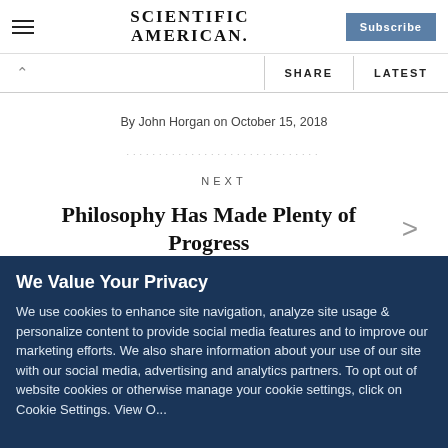Scientific American — Subscribe
SHARE  LATEST
By John Horgan on October 15, 2018
NEXT
Philosophy Has Made Plenty of Progress
We Value Your Privacy
We use cookies to enhance site navigation, analyze site usage & personalize content to provide social media features and to improve our marketing efforts. We also share information about your use of our site with our social media, advertising and analytics partners. To opt out of website cookies or otherwise manage your cookie settings, click on Cookie Settings. View O...